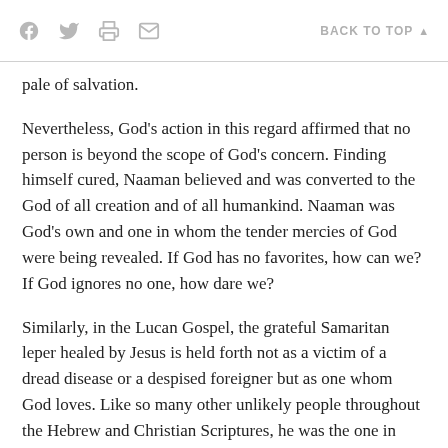f [facebook icon] [twitter icon] [print icon] [email icon]   BACK TO TOP ▲
pale of salvation.
Nevertheless, God's action in this regard affirmed that no person is beyond the scope of God's concern. Finding himself cured, Naaman believed and was converted to the God of all creation and of all humankind. Naaman was God's own and one in whom the tender mercies of God were being revealed. If God has no favorites, how can we? If God ignores no one, how dare we?
Similarly, in the Lucan Gospel, the grateful Samaritan leper healed by Jesus is held forth not as a victim of a dread disease or a despised foreigner but as one whom God loves. Like so many other unlikely people throughout the Hebrew and Christian Scriptures, he was the one in whom the all-inclusive mercies of God were being revealed through Jesus.